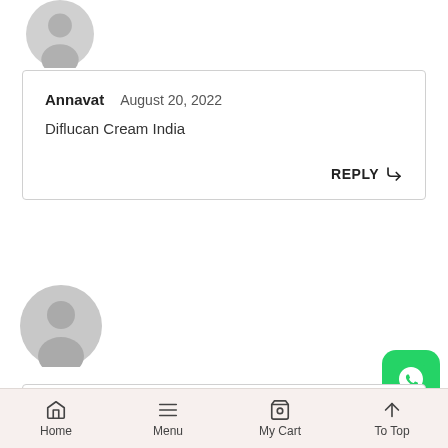[Figure (illustration): Partial gray user avatar icon at top, cropped]
Annavat   August 20, 2022
Diflucan Cream India
REPLY
[Figure (illustration): Gray user avatar icon, second comment]
Canadian Drug   August 20, 2022
[Figure (illustration): WhatsApp green button icon]
Home   Menu   My Cart   To Top